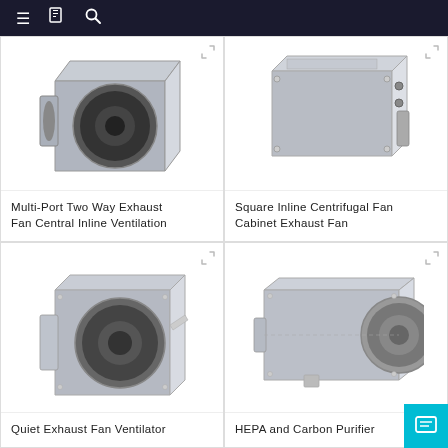Navigation bar with menu, catalog, and search icons
[Figure (photo): Multi-Port Two Way Exhaust Fan Central Inline Ventilation unit - metal box fan product photo, top-left card]
Multi-Port Two Way Exhaust Fan Central Inline Ventilation
[Figure (photo): Square Inline Centrifugal Fan Cabinet Exhaust Fan - metal box unit product photo, top-right card]
Square Inline Centrifugal Fan Cabinet Exhaust Fan
[Figure (photo): Quiet Exhaust Fan Ventilator - metal inline fan unit product photo, bottom-left card]
Quiet Exhaust Fan Ventilator
[Figure (photo): HEPA and Carbon Purifier - large inline duct fan/purifier unit product photo, bottom-right card]
HEPA and Carbon Purifier